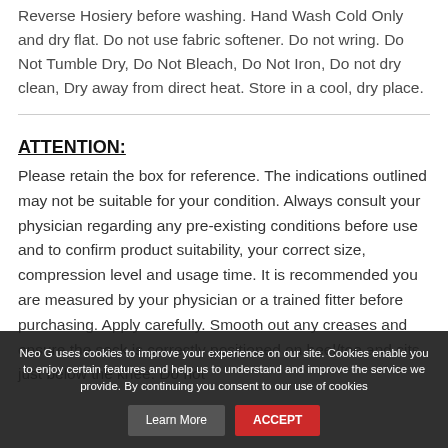Reverse Hosiery before washing. Hand Wash Cold Only and dry flat. Do not use fabric softener. Do not wring. Do Not Tumble Dry, Do Not Bleach, Do Not Iron, Do not dry clean, Dry away from direct heat. Store in a cool, dry place.
ATTENTION:
Please retain the box for reference. The indications outlined may not be suitable for your condition. Always consult your physician regarding any pre-existing conditions before use and to confirm product suitability, your correct size, compression level and usage time. It is recommended you are measured by your physician or a trained fitter before purchasing. Apply carefully. Smooth out any creases and ensure the sock is correctly positioned on heel/toe and sits just below the knee. Do not
Neo G uses cookies to improve your experience on our site. Cookies enable you to enjoy certain features and help us to understand and improve the service we provide. By continuing you consent to our use of cookies